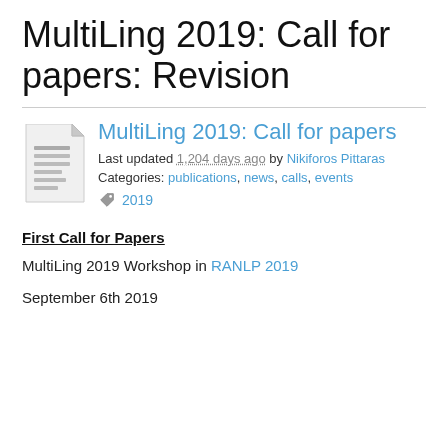MultiLing 2019: Call for papers: Revision
[Figure (illustration): Document icon — a page with text lines, folded corner, grey tones]
MultiLing 2019: Call for papers
Last updated 1,204 days ago by Nikiforos Pittaras
Categories: publications, news, calls, events
2019
First Call for Papers
MultiLing 2019 Workshop in RANLP 2019
September 6th 2019